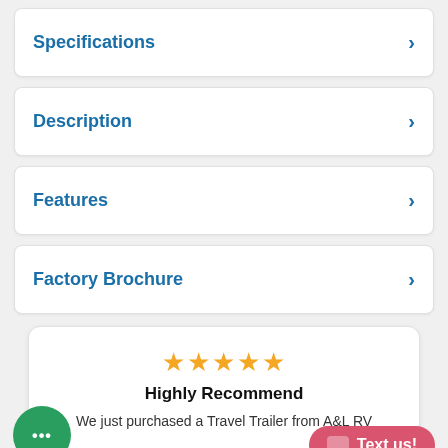Specifications
Description
Features
Factory Brochure
★★★★★
Highly Recommend
We just purchased a Travel Trailer from A&L RV